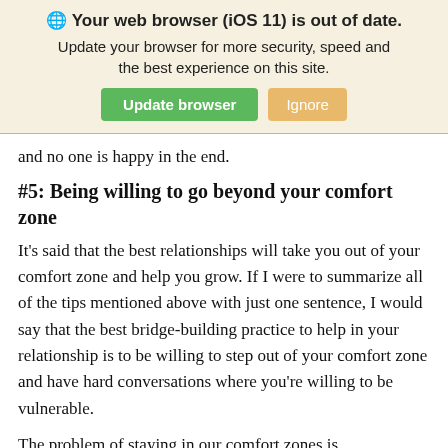[Figure (screenshot): Browser update notification banner with globe icon, bold title 'Your web browser (iOS 11) is out of date.', subtitle text, and two buttons: 'Update browser' (green) and 'Ignore' (orange/tan)]
and no one is happy in the end.
#5: Being willing to go beyond your comfort zone
It's said that the best relationships will take you out of your comfort zone and help you grow. If I were to summarize all of the tips mentioned above with just one sentence, I would say that the best bridge-building practice to help in your relationship is to be willing to step out of your comfort zone and have hard conversations where you're willing to be vulnerable.
The problem of staying in our comfort zones is